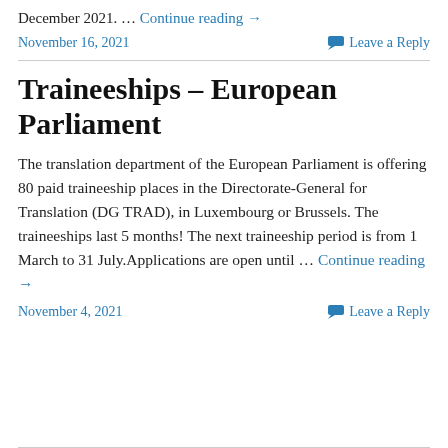December 2021. … Continue reading →
November 16, 2021    Leave a Reply
Traineeships – European Parliament
The translation department of the European Parliament is offering 80 paid traineeship places in the Directorate-General for Translation (DG TRAD), in Luxembourg or Brussels. The traineeships last 5 months! The next traineeship period is from 1 March to 31 July.Applications are open until … Continue reading →
November 4, 2021    Leave a Reply